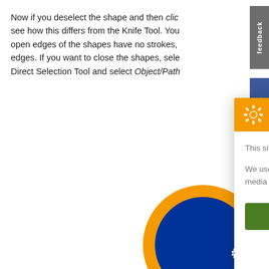Now if you deselect the shape and then click... see how this differs from the Knife Tool. You... open edges of the shapes have no strokes,... edges. If you want to close the shapes, sele... Direct Selection Tool and select Object/Path...
[Figure (screenshot): Cookie Control popup dialog with orange header, gear icon, close button X, text about cookies, 'I'm fine with this' green button, and links for Information and Settings / About this tool]
[Figure (infographic): Right-side vertical tab buttons: feedback (gray), facebook (blue), twitter (light blue), learn Dw (green). Blue and orange circle decoration in bottom right corner with gear icon.]